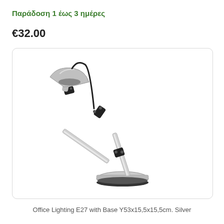Παράδοση 1 έως 3 ημέρες
€32.00
[Figure (photo): Silver adjustable arm office desk lamp (E27) with a circular base, shown against a white background inside a rounded rectangle border. The lamp has a silver/grey shade and silver arms with black joints.]
Office Lighting E27 with Base Y53x15,5x15,5cm. Silver